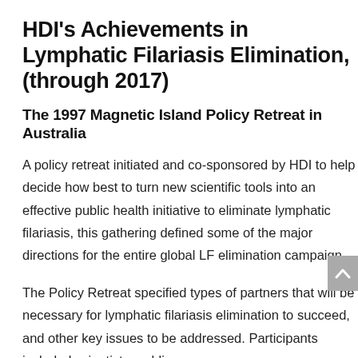HDI's Achievements in Lymphatic Filariasis Elimination, (through 2017)
The 1997 Magnetic Island Policy Retreat in Australia
A policy retreat initiated and co-sponsored by HDI to help decide how best to turn new scientific tools into an effective public health initiative to eliminate lymphatic filariasis, this gathering defined some of the major directions for the entire global LF elimination campaign.
The Policy Retreat specified types of partners that will be necessary for lymphatic filariasis elimination to succeed, and other key issues to be addressed. Participants included scientists, public